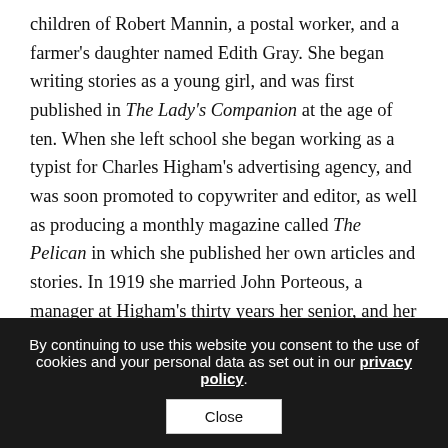children of Robert Mannin, a postal worker, and a farmer's daughter named Edith Gray. She began writing stories as a young girl, and was first published in The Lady's Companion at the age of ten. When she left school she began working as a typist for Charles Higham's advertising agency, and was soon promoted to copywriter and editor, as well as producing a monthly magazine called The Pelican in which she published her own articles and stories. In 1919 she married John Porteous, a manager at Higham's thirty years her senior, and her only child Jean was born shortly after. They separated ten years later by which time Mannin had developed a deep interest in child care and education, especially in the progressive theories of A.S. Neill. She wrote several
By continuing to use this website you consent to the use of cookies and your personal data as set out in our privacy policy.